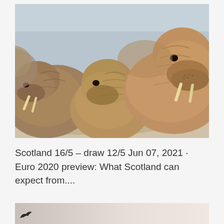[Figure (photo): Three walruses resting on a sandy beach. Two large walruses with prominent tusks are visible on the left and right sides, with a third one in the middle. The background shows a pale blue-grey sky. The walruses have wrinkled brownish skin.]
Scotland 16/5 – draw 12/5 Jun 07, 2021 · Euro 2020 preview: What Scotland can expect from....
[Figure (photo): Partial bottom strip of another image, showing a dark bird silhouette on a light grey background.]